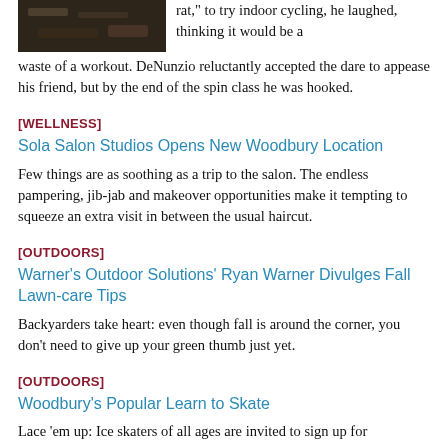[Figure (photo): Partial image at top left, dark textured subject]
rat," to try indoor cycling, he laughed, thinking it would be a waste of a workout. DeNunzio reluctantly accepted the dare to appease his friend, but by the end of the spin class he was hooked.
[WELLNESS]
Sola Salon Studios Opens New Woodbury Location
Few things are as soothing as a trip to the salon. The endless pampering, jib-jab and makeover opportunities make it tempting to squeeze an extra visit in between the usual haircut.
[OUTDOORS]
Warner's Outdoor Solutions' Ryan Warner Divulges Fall Lawn-care Tips
Backyarders take heart: even though fall is around the corner, you don't need to give up your green thumb just yet.
[OUTDOORS]
Woodbury's Popular Learn to Skate
Lace 'em up: Ice skaters of all ages are invited to sign up for